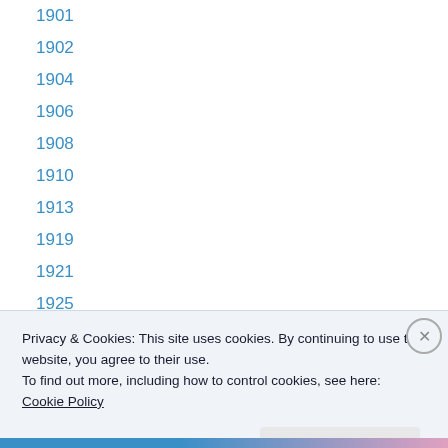1901
1902
1904
1906
1908
1910
1913
1919
1921
1925
1927
1930
1953
Privacy & Cookies: This site uses cookies. By continuing to use this website, you agree to their use.
To find out more, including how to control cookies, see here: Cookie Policy
Close and accept